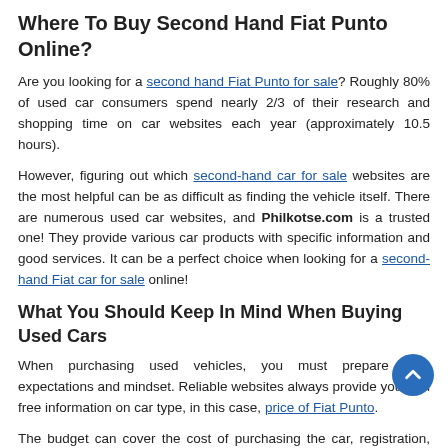Where To Buy Second Hand Fiat Punto Online?
Are you looking for a second hand Fiat Punto for sale? Roughly 80% of used car consumers spend nearly 2/3 of their research and shopping time on car websites each year (approximately 10.5 hours).
However, figuring out which second-hand car for sale websites are the most helpful can be as difficult as finding the vehicle itself. There are numerous used car websites, and Philkotse.com is a trusted one! They provide various car products with specific information and good services. It can be a perfect choice when looking for a second-hand Fiat car for sale online!
What You Should Keep In Mind When Buying Used Cars
When purchasing used vehicles, you must prepare your expectations and mindset. Reliable websites always provide you with free information on car type, in this case, price of Fiat Punto.
The budget can cover the cost of purchasing the car, registration, and other paperwork, as well as the cost of maintenance and consumables (for later usage). Aside from that, you can set certain goals for yourself when researching online platforms:
Vehicle's Age And Safety Information
When you get a used car, the vehicle's age and its safety information